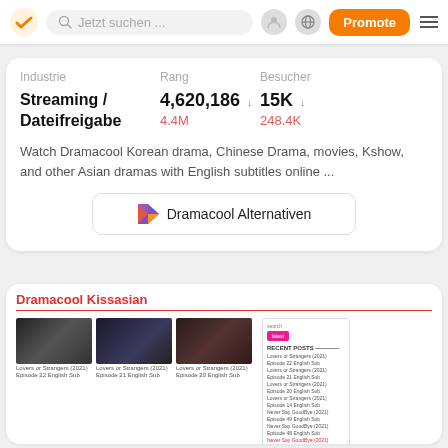[Figure (screenshot): Website analytics navigation bar with checkmark logo, search bar 'Jetzt suchen ...', user icon, globe icon, orange Promote button, and hamburger menu]
| Industrie | Rang | Besucher |
| --- | --- | --- |
| Streaming / Dateifreigabe | 4,620,186 ↓
4.4M | 15K ↓
248.4K |
Watch Dramacool Korean drama, Chinese Drama, movies, Kshow, and other Asian dramas with English subtitles online ...
Dramacool Alternativen
[Figure (screenshot): Screenshot of Dramacool Kissasian website showing drama thumbnails grid including 'Lovers or Strangers' and 'Never Say GoodBye' episodes, with a right sidebar showing Recent Posts]